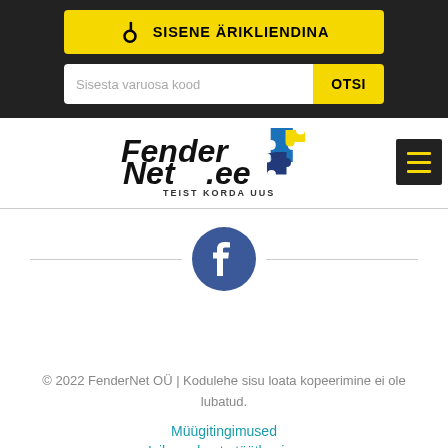[Figure (screenshot): Yellow button with key icon and text SISENE ÄRIKLIENDINA (login as business client)]
[Figure (screenshot): Search bar with placeholder text 'Sisesta varuosa kood' and yellow OTSI button]
[Figure (logo): FenderNet.ee logo with colorful puzzle pieces and tagline TEIST KORDA UUS]
[Figure (infographic): Facebook icon circle with horizontal divider lines on each side]
© 2022 FenderNet OÜ | Kodulehe sisu loata kopeerimine ei ole lubatud.
Müügitingimused
Isikuandmete töötlemine